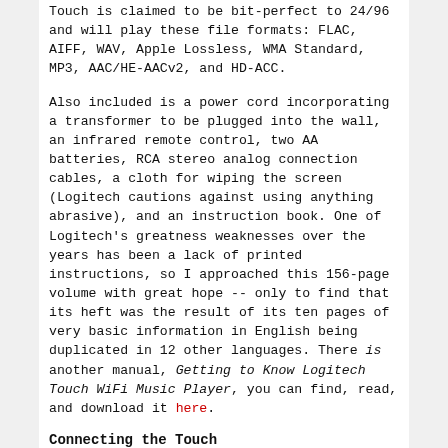Touch is claimed to be bit-perfect to 24/96 and will play these file formats: FLAC, AIFF, WAV, Apple Lossless, WMA Standard, MP3, AAC/HE-AACv2, and HD-ACC.
Also included is a power cord incorporating a transformer to be plugged into the wall, an infrared remote control, two AA batteries, RCA stereo analog connection cables, a cloth for wiping the screen (Logitech cautions against using anything abrasive), and an instruction book. One of Logitech's greatness weaknesses over the years has been a lack of printed instructions, so I approached this 156-page volume with great hope -- only to find that its heft was the result of its ten pages of very basic information in English being duplicated in 12 other languages. There is another manual, Getting to Know Logitech Touch WiFi Music Player, you can find, read, and download it here.
Connecting the Touch
The presence of the Touch's internal server, the Tiny SBS, means that one could simply connect the Touch to...